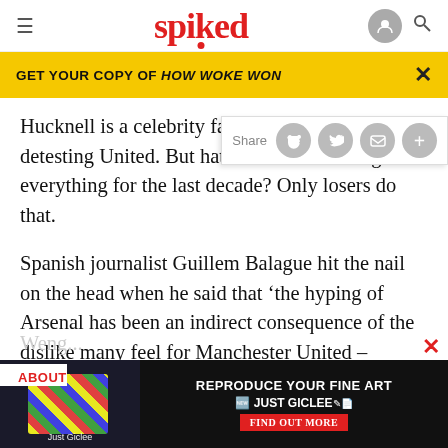spiked
GET YOUR COPY OF HOW WOKE WON
Hucknell is a celebrity fan – the reasons for detesting United. But hate them for winning everything for the last decade? Only losers do that.
Spanish journalist Guillem Balague hit the nail on the head when he said that 'the hyping of Arsenal has been an indirect consequence of the dislike many feel for Manchester United – overstating the success of Wenge...
ABOUT
[Figure (screenshot): Advertisement: REPRODUCE YOUR FINE ART - JUST GICLEE - FIND OUT MORE]